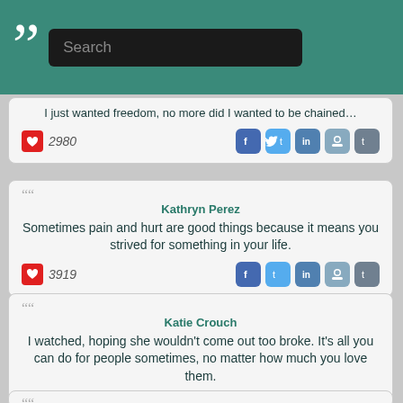Search
I just wanted freedom, no more did I wanted to be chained… ❤ 2980
Kathryn Perez — Sometimes pain and hurt are good things because it means you strived for something in your life. ❤ 3919
Katie Crouch — I watched, hoping she wouldn't come out too broke. It's all you can do for people sometimes, no matter how much you love them. ❤ 4747